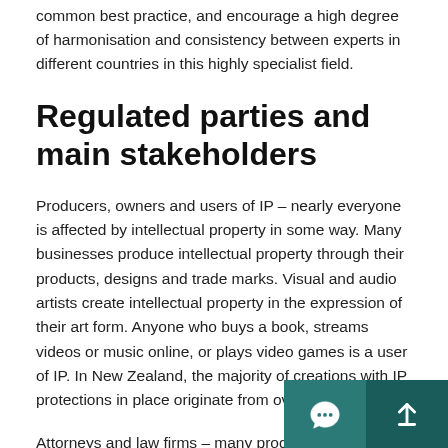common best practice, and encourage a high degree of harmonisation and consistency between experts in different countries in this highly specialist field.
Regulated parties and main stakeholders
Producers, owners and users of IP – nearly everyone is affected by intellectual property in some way. Many businesses produce intellectual property through their products, designs and trade marks. Visual and audio artists create intellectual property in the expression of their art form. Anyone who buys a book, streams videos or music online, or plays video games is a user of IP. In New Zealand, the majority of creations with IP protections in place originate from overseas.
Attorneys and law firms – many producers and users utilise the services of attorneys (particularly pa...